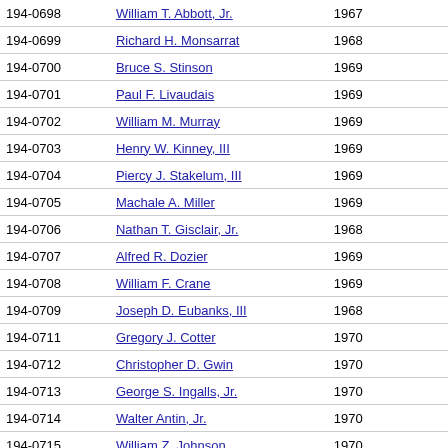| ID | Name | Year |  |
| --- | --- | --- | --- |
| 194-0698 | William T. Abbott, Jr. | 1967 |  |
| 194-0699 | Richard H. Monsarrat | 1968 |  |
| 194-0700 | Bruce S. Stinson | 1969 |  |
| 194-0701 | Paul F. Livaudais | 1969 |  |
| 194-0702 | William M. Murray | 1969 |  |
| 194-0703 | Henry W. Kinney, III | 1969 |  |
| 194-0704 | Piercy J. Stakelum, III | 1969 |  |
| 194-0705 | Machale A. Miller | 1969 |  |
| 194-0706 | Nathan T. Gisclair, Jr. | 1968 |  |
| 194-0707 | Alfred R. Dozier | 1969 |  |
| 194-0708 | William F. Crane | 1969 |  |
| 194-0709 | Joseph D. Eubanks, III | 1968 |  |
| 194-0711 | Gregory J. Cotter | 1970 |  |
| 194-0712 | Christopher D. Gwin | 1970 |  |
| 194-0713 | George S. Ingalls, Jr. | 1970 |  |
| 194-0714 | Walter Antin, Jr. | 1970 |  |
| 194-0715 | William Z. Johnson | 1970 |  |
| 194-0716 | Michael R. Engler | 1970 |  |
| 194-0717 | Charles B. Reynolds | 1970 |  |
| 194-0719 | Richard L. Weinberg | 1971 |  |
| 194-0720 | Morgan A. Jones | 1971 |  |